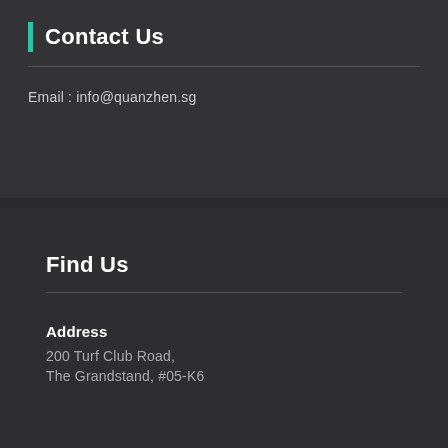Contact Us
Email : info@quanzhen.sg
Find Us
Address
200 Turf Club Road,
The Grandstand, #05-K6